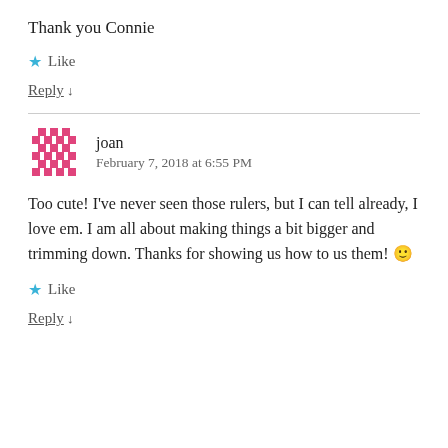Thank you Connie
★ Like
Reply ↓
joan
February 7, 2018 at 6:55 PM
Too cute! I've never seen those rulers, but I can tell already, I love em. I am all about making things a bit bigger and trimming down. Thanks for showing us how to us them! 🙂
★ Like
Reply ↓